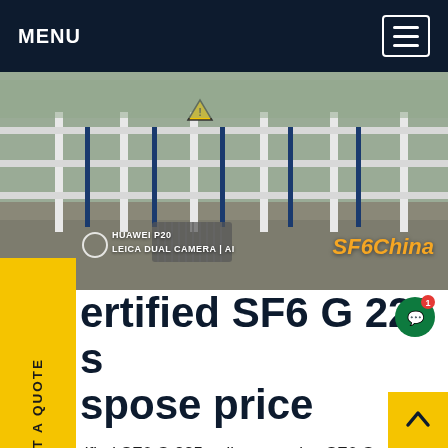MENU
[Figure (photo): Outdoor electrical substation fence with white metal railings and blue vertical poles, gravel ground, warning sign visible. Taken with Huawei P20 Leica Dual Camera AI. SF6China watermark in orange.]
ertified SF6 G 225 s spose price
tified SF6 G 225 s dispose price,SF6 Gas posal:Do you have unwanted SF6 gas of stionable quality at your facility? Let our company Direct take it off your hands! Our SF6 gas disposal designed as an alternative to venting, destroying, or stockpiling SF6 contaminated with any,